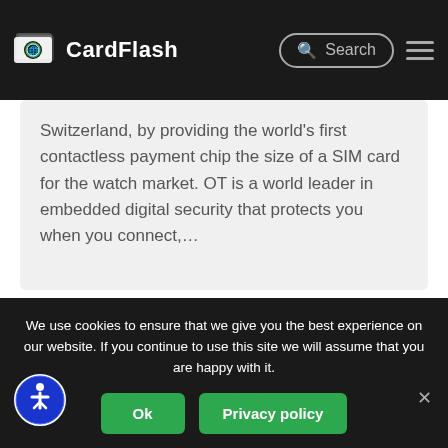CardFlash
Switzerland, by providing the world's first contactless payment chip the size of a SIM card for the watch market. OT is a world leader in embedded digital security that protects you when you connect,…
1 2 3 4 5 ... 41 →
We use cookies to ensure that we give you the best experience on our website. If you continue to use this site we will assume that you are happy with it.